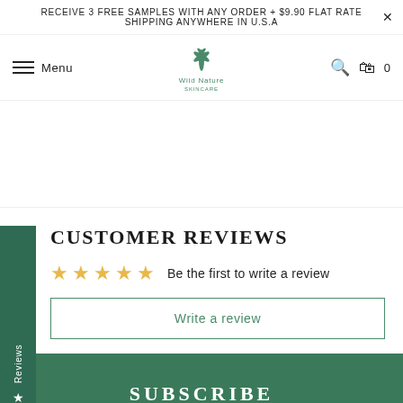RECEIVE 3 FREE SAMPLES WITH ANY ORDER + $9.90 FLAT RATE SHIPPING ANYWHERE IN U.S.A
[Figure (logo): Wild Nature Skincare logo with aloe plant icon]
CUSTOMER REVIEWS
Be the first to write a review
Write a review
SUBSCRIBE
Sign up to get the latest news, ideas, promotions and more...